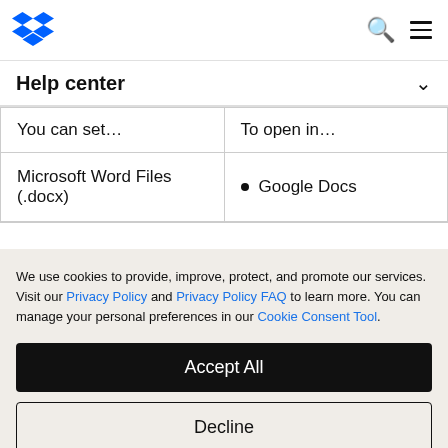[Figure (logo): Dropbox blue diamond logo in top left]
Help center
| You can set... | To open in... |
| --- | --- |
| Microsoft Word Files (.docx) | • Google Docs |
We use cookies to provide, improve, protect, and promote our services. Visit our Privacy Policy and Privacy Policy FAQ to learn more. You can manage your personal preferences in our Cookie Consent Tool.
Accept All
Decline